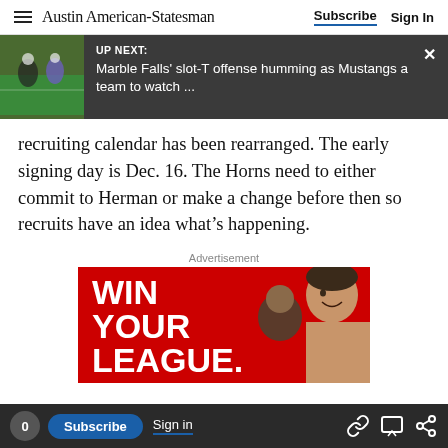Austin American-Statesman | Subscribe | Sign In
[Figure (screenshot): UP NEXT banner overlay showing a football game thumbnail on the left with dark background. Text reads 'UP NEXT: Marble Falls' slot-T offense humming as Mustangs a team to watch ...' with an X close button.]
recruiting calendar has been rearranged. The early signing day is Dec. 16. The Horns need to either commit to Herman or make a change before then so recruits have an idea what’s happening.
Advertisement
[Figure (screenshot): Advertisement banner with red background showing large white bold text 'WIN YOUR LEAGUE.' and a smiling man on the right side. THE HUDDLE branding visible at bottom.]
0  Subscribe  Sign in  [link icon] [comment icon] [share icon]